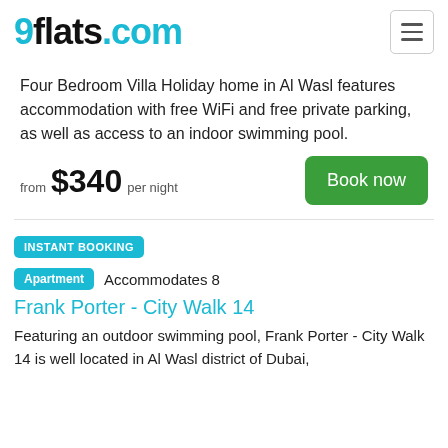9flats.com
Four Bedroom Villa Holiday home in Al Wasl features accommodation with free WiFi and free private parking, as well as access to an indoor swimming pool.
from $340 per night
Book now
INSTANT BOOKING
Apartment  Accommodates 8
Frank Porter - City Walk 14
Featuring an outdoor swimming pool, Frank Porter - City Walk 14 is well located in Al Wasl district of Dubai,